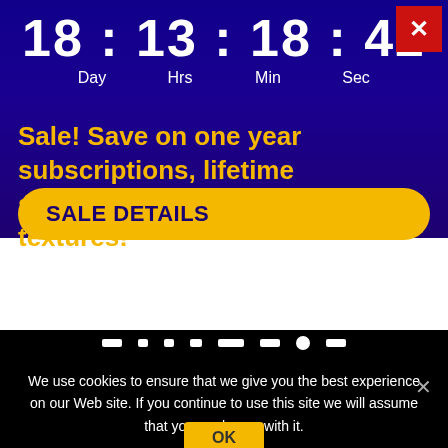18 : 13 : 18 : 42
Day    Hrs    Min    Sec
Sale! Save on one year subscriptions, lifetime subscriptions & seamless textures!
SALE DETAILS
We use cookies to ensure that we give you the best experience on our Web site. If you continue to use this site we will assume that you are happy with it.
OK